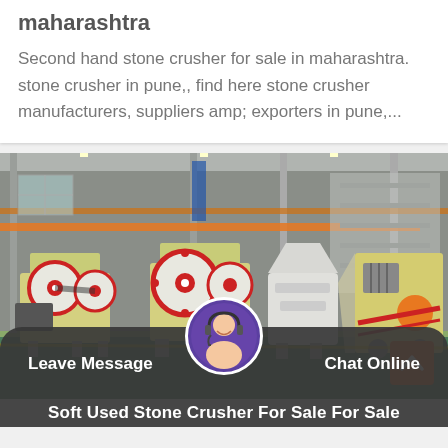maharashtra
Second hand stone crusher for sale in maharashtra. stone crusher in pune,, find here stone crusher manufacturers, suppliers amp; exporters in pune,...
[Figure (photo): Industrial factory floor showing multiple stone crusher machines including jaw crushers and impact crushers painted yellow/cream with red wheel accents, inside a large steel-framed warehouse with orange overhead cranes.]
Leave Message
Chat Online
Soft Used Stone Crusher For Sale For Sale